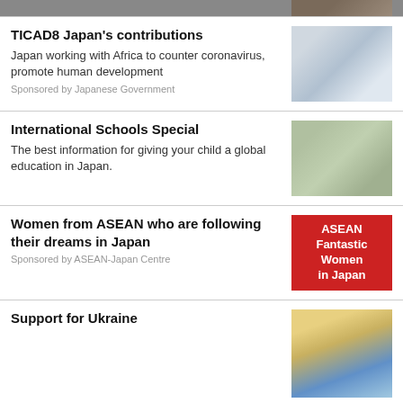[Figure (photo): Partial image at top of page, cropped]
TICAD8 Japan's contributions
Japan working with Africa to counter coronavirus, promote human development
Sponsored by Japanese Government
[Figure (photo): People in white lab coats, medical/science context]
International Schools Special
The best information for giving your child a global education in Japan.
[Figure (photo): Group of children posing for photo]
Women from ASEAN who are following their dreams in Japan
Sponsored by ASEAN-Japan Centre
[Figure (illustration): Red box with white text: ASEAN Fantastic Women in Japan]
Support for Ukraine
[Figure (photo): Women in traditional Ukrainian attire with flowers]
Sysmex diagnostics bring hope in fight against malaria
Sponsored by Sysmex
[Figure (photo): Dark image, medical diagnostics context]